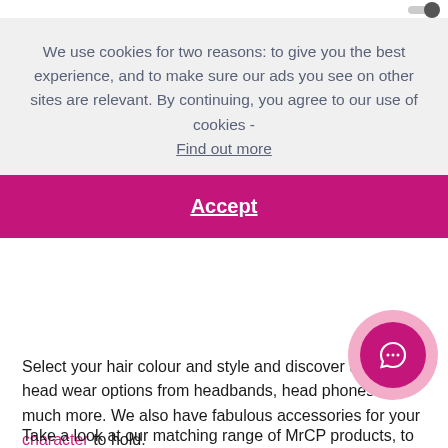We use cookies for two reasons: to give you the best experience, and to make sure our ads you see on other sites are relevant. By continuing, you agree to our use of cookies - Find out more
Accept
Select your hair colour and style and discover the new head wear options from headbands, head phones and much more. We also have fabulous accessories for your character to hold.
Take a look at our matching range of MrCP products, to give